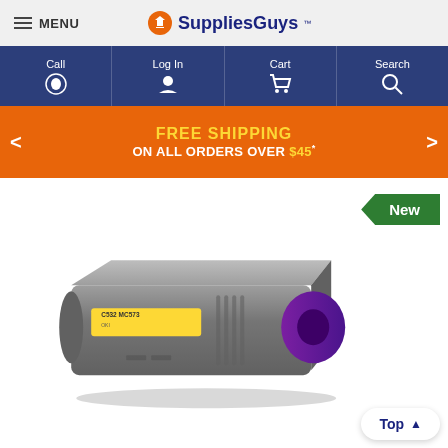MENU | SuppliesGuys
[Figure (screenshot): Navigation bar with Call, Log In, Cart, Search buttons in dark blue]
[Figure (infographic): Orange promotional banner: FREE SHIPPING ON ALL ORDERS OVER $45*]
[Figure (photo): Green 'New' badge in top right corner]
[Figure (photo): OKI C532 MC573 yellow toner cartridge, grey body with purple end cap]